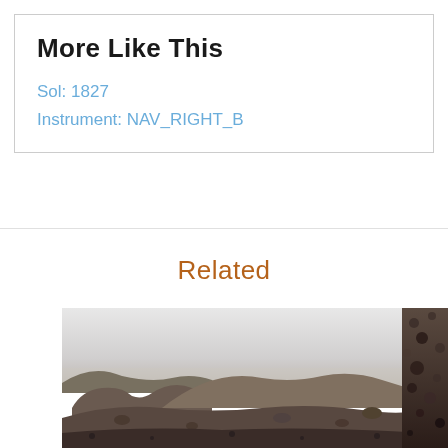More Like This
Sol: 1827
Instrument: NAV_RIGHT_B
Related
[Figure (photo): Black and white NASA Mars rover photograph showing Martian rocky terrain with hills and a hazy sky]
[Figure (photo): Partial black and white NASA Mars rover photograph showing rocky close-up terrain, partially cropped at right edge]